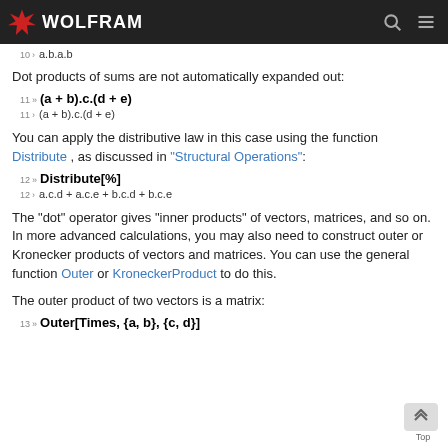WOLFRAM
10 › a.b.a.b
Dot products of sums are not automatically expanded out:
11 » (a + b).c.(d + e)
11 › (a + b).c.(d + e)
You can apply the distributive law in this case using the function Distribute, as discussed in "Structural Operations":
12 » Distribute[%]
12 › a.c.d + a.c.e + b.c.d + b.c.e
The "dot" operator gives "inner products" of vectors, matrices, and so on. In more advanced calculations, you may also need to construct outer or Kronecker products of vectors and matrices. You can use the general function Outer or KroneckerProduct to do this.
The outer product of two vectors is a matrix:
13 » Outer[Times, {a, b}, {c, d}]